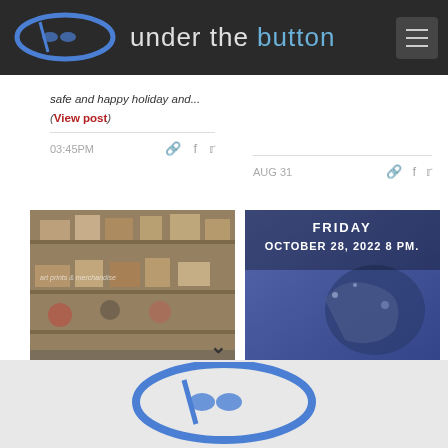under the button
safe and happy holiday and...
(View post)
03:45PM
AUG 31
[Figure (photo): Store interior with art prints and merchandise on shelves]
[Figure (photo): Event poster: FRIDAY OCTOBER 28, 2022 8 PM with blue bird artwork]
[Figure (logo): Under the Button logo - blue stylized button/iron shape with text 'under the button']